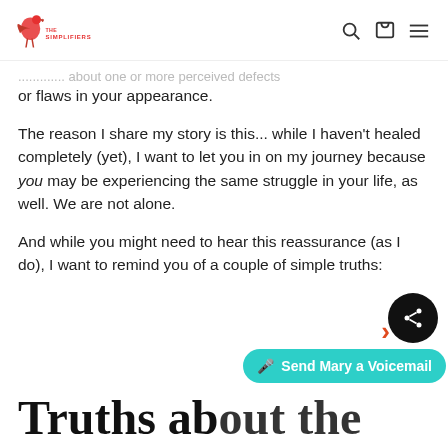The Simplifiers [logo with navigation icons: search, cart, menu]
…thinking about one or more perceived defects or flaws in your appearance.
The reason I share my story is this... while I haven't healed completely (yet), I want to let you in on my journey because you may be experiencing the same struggle in your life, as well. We are not alone.
And while you might need to hear this reassurance (as I do), I want to remind you of a couple of simple truths:
Truths about the